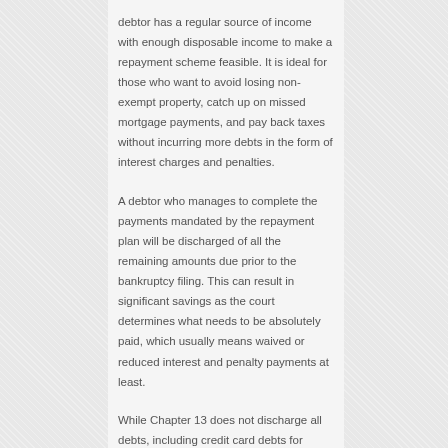debtor has a regular source of income with enough disposable income to make a repayment scheme feasible. It is ideal for those who want to avoid losing non-exempt property, catch up on missed mortgage payments, and pay back taxes without incurring more debts in the form of interest charges and penalties.
A debtor who manages to complete the payments mandated by the repayment plan will be discharged of all the remaining amounts due prior to the bankruptcy filing. This can result in significant savings as the court determines what needs to be absolutely paid, which usually means waived or reduced interest and penalty payments at least.
While Chapter 13 does not discharge all debts, including credit card debts for luxury